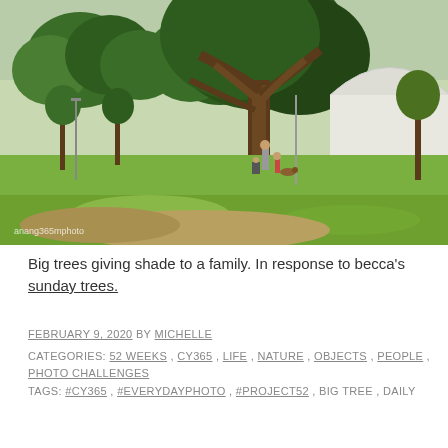[Figure (photo): Outdoor park scene with large spreading trees giving shade to a small family group on green lawn, with a white arched pavilion/bandshell structure visible on the right side. Watermark reads 'anang365mphoto' in lower left.]
Big trees giving shade to a family. In response to becca's sunday trees.
FEBRUARY 9, 2020 BY MICHELLE
CATEGORIES: 52 WEEKS, CY365, LIFE, NATURE, OBJECTS, PEOPLE, PHOTO CHALLENGES
TAGS: #CY365, #EVERYDAYPHOTO, #PROJECT52, BIG TREE, DAILY